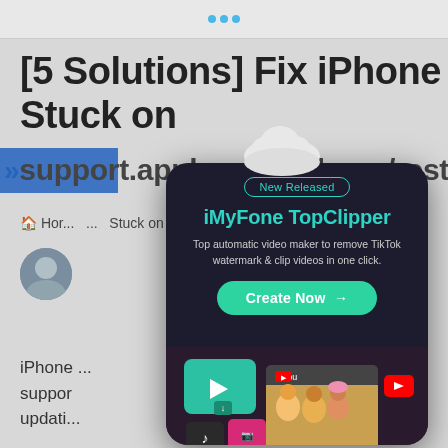[5 Solutions] Fix iPhone Stuck on support.apple.com/iphone/restore
Hor ... Stuck on "su
iPhone ... support ... u are updati... with
[Figure (screenshot): iMyFone TopClipper popup advertisement card with 'New Released' badge, title 'iMyFone TopClipper', description 'Top automatic video maker to remove TikTok watermark & clip videos in one click.', green 'Create Now →' button, and social media video thumbnails at the bottom including YouTube, Instagram, TikTok icons. A cloud icon floats above the card.]